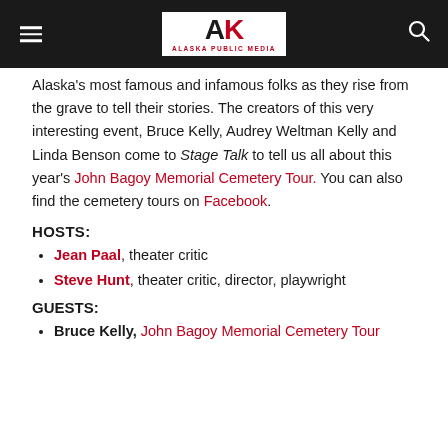Alaska Public Media
Alaska's most famous and infamous folks as they rise from the grave to tell their stories. The creators of this very interesting event, Bruce Kelly, Audrey Weltman Kelly and Linda Benson come to Stage Talk to tell us all about this year's John Bagoy Memorial Cemetery Tour. You can also find the cemetery tours on Facebook.
HOSTS:
Jean Paal, theater critic
Steve Hunt, theater critic, director, playwright
GUESTS:
Bruce Kelly, John Bagoy Memorial Cemetery Tour